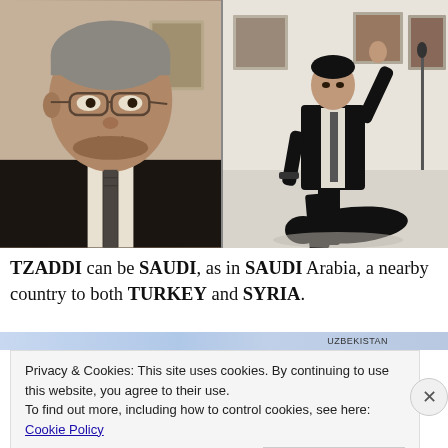[Figure (photo): Left: close-up portrait of a middle-aged man with glasses in a dark suit. Right: a man in a black suit standing with one arm raised in a gallery, another person lying on the floor.]
TZADDI can be SAUDI, as in SAUDI Arabia, a nearby country to both TURKEY and SYRIA.
Privacy & Cookies: This site uses cookies. By continuing to use this website, you agree to their use.
To find out more, including how to control cookies, see here: Cookie Policy

Close and accept